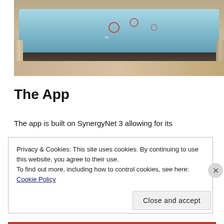[Figure (photo): A touch-screen table/interactive display surface photographed in what appears to be an office or exhibition space. The table has a bright blue-lit surface with icons/markers on it, dark frame edges, and is supported by legs. Cardboard boxes are visible beneath.]
The App
The app is built on SynergyNet 3 allowing for its
Privacy & Cookies: This site uses cookies. By continuing to use this website, you agree to their use.
To find out more, including how to control cookies, see here: Cookie Policy
Close and accept